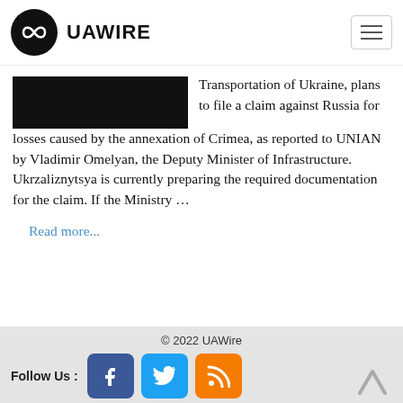UAWIRE
[Figure (other): Black redacted/placeholder image rectangle]
Transportation of Ukraine, plans to file a claim against Russia for losses caused by the annexation of Crimea, as reported to UNIAN by Vladimir Omelyan, the Deputy Minister of Infrastructure. Ukrzaliznytsya is currently preparing the required documentation for the claim. If the Ministry …
Read more...
© 2022 UAWire
Follow Us :